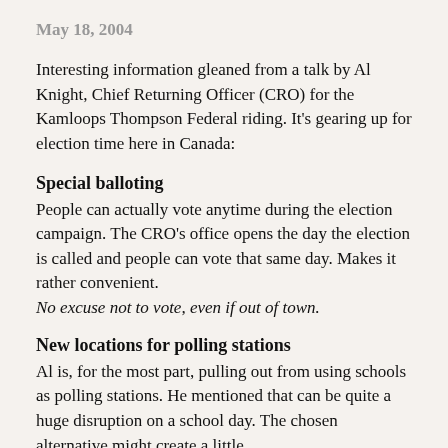May 18, 2004
Interesting information gleaned from a talk by Al Knight, Chief Returning Officer (CRO) for the Kamloops Thompson Federal riding. It's gearing up for election time here in Canada:
Special balloting
People can actually vote anytime during the election campaign. The CRO's office opens the day the election is called and people can vote that same day. Makes it rather convenient. No excuse not to vote, even if out of town.
New locations for polling stations
Al is, for the most part, pulling out from using schools as polling stations. He mentioned that can be quite a huge disruption on a school day. The chosen alternative might create a little